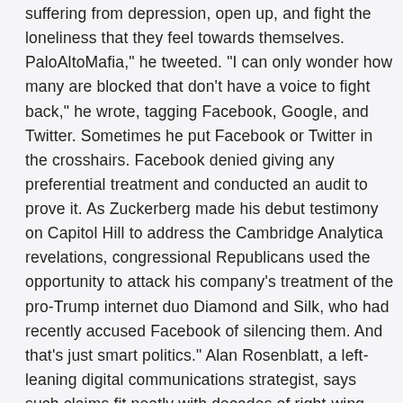suffering from depression, open up, and fight the loneliness that they feel towards themselves. PaloAltoMafia," he tweeted. "I can only wonder how many are blocked that don't have a voice to fight back," he wrote, tagging Facebook, Google, and Twitter. Sometimes he put Facebook or Twitter in the crosshairs. Facebook denied giving any preferential treatment and conducted an audit to prove it. As Zuckerberg made his debut testimony on Capitol Hill to address the Cambridge Analytica revelations, congressional Republicans used the opportunity to attack his company's treatment of the pro-Trump internet duo Diamond and Silk, who had recently accused Facebook of silencing them. And that's just smart politics." Alan Rosenblatt, a left-leaning digital communications strategist, says such claims fit neatly with decades of right-wing claims of media bias: "Being able to attack on anecdotal evidence-whenever something happens, when they take it out of context-is great with the base.